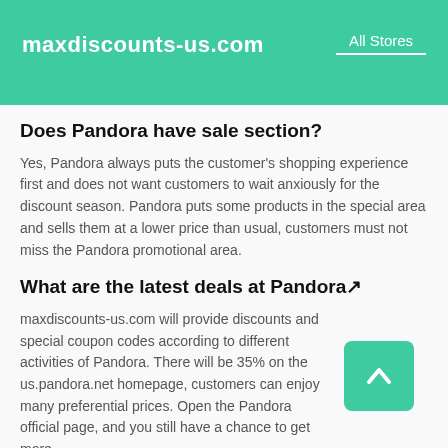maxdiscounts-us.com   All Stores
Does Pandora have sale section?
Yes, Pandora always puts the customer's shopping experience first and does not want customers to wait anxiously for the discount season. Pandora puts some products in the special area and sells them at a lower price than usual, customers must not miss the Pandora promotional area.
What are the latest deals at Pandora↗
maxdiscounts-us.com will provide discounts and special coupon codes according to different activities of Pandora. There will be 35% on the us.pandora.net homepage, customers can enjoy many preferential prices. Open the Pandora official page, and you still have a chance to get more